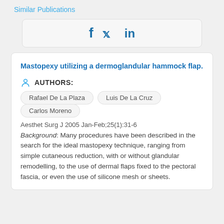Similar Publications
[Figure (other): Social sharing bar with Facebook, Twitter, and LinkedIn icons]
Mastopexy utilizing a dermoglandular hammock flap.
AUTHORS:
Rafael De La Plaza
Luis De La Cruz
Carlos Moreno
Aesthet Surg J 2005 Jan-Feb;25(1):31-6
Background: Many procedures have been described in the search for the ideal mastopexy technique, ranging from simple cutaneous reduction, with or without glandular remodelling, to the use of dermal flaps fixed to the pectoral fascia, or even the use of silicone mesh or sheets.